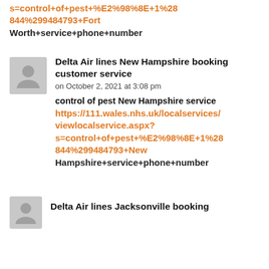s=control+of+pest+%E2%98%8E+1%28844%29948​4793+Fort Worth+service+phone+number
Delta Air lines New Hampshire booking customer service
on October 2, 2021 at 3:08 pm
control of pest New Hampshire service https://111.wales.nhs.uk/localservices/viewlocalservice.aspx?s=control+of+pest+%E2%98%8E+1%28844%299484793+New Hampshire+service+phone+number
Delta Air lines Jacksonville booking